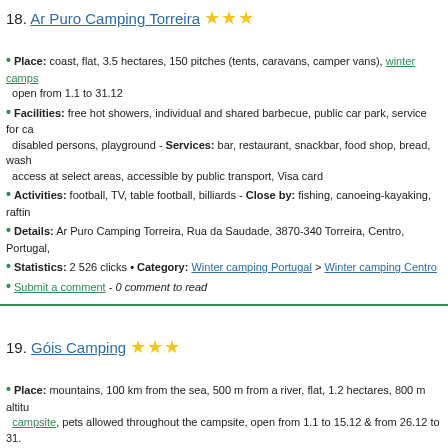18. Ar Puro Camping Torreira ★★★
Place: coast, flat, 3.5 hectares, 150 pitches (tents, caravans, camper vans), winter camps open from 1.1 to 31.12
Facilities: free hot showers, individual and shared barbecue, public car park, service for ca disabled persons, playground - Services: bar, restaurant, snackbar, food shop, bread, wash access at select areas, accessible by public transport, Visa card
Activities: football, TV, table football, billiards - Close by: fishing, canoeing-kayaking, raftin
Details: Ar Puro Camping Torreira, Rua da Saudade, 3870-340 Torreira, Centro, Portugal,
Statistics: 2 526 clicks • Category: Winter camping Portugal > Winter camping Centro
Submit a comment - 0 comment to read
19. Góis Camping ★★★
Place: mountains, 100 km from the sea, 500 m from a river, flat, 1.2 hectares, 800 m altitu campsite, pets allowed throughout the campsite, open from 1.1 to 15.12 & from 26.12 to 31.
Facilities: free hot showers, shared barbecue, private car park, service for camper vans, e hire, free WI-FI internet access at select areas, accessible by public transport, Visa card, Eu
Activities: table football, billiards - Close by: hike, mountain bike, climbing, fishing, canoei
Details: Góis Camping, Parque do Castelo, 3330-304 Góis, Centro, Portugal, Tel. 235 778
Statistics: 3 733 clicks • Category: Winter camping Portugal > Winter camping Centro
Submit a comment - 0 comment to read